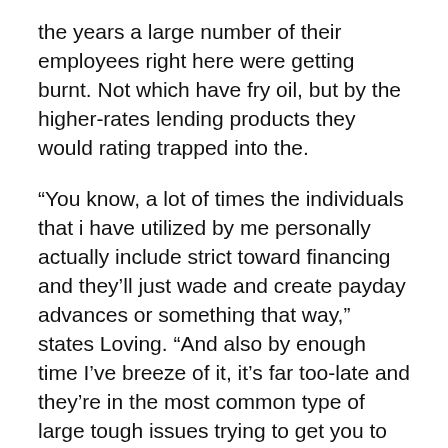the years a large number of their employees right here were getting burnt. Not which have fry oil, but by the higher-rates lending products they would rating trapped into the.
“You know, a lot of times the individuals that i have utilized by me personally actually include strict toward financing and they’ll just wade and create payday advances or something that way,” states Loving. “And also by enough time I’ve breeze of it, it’s far too-late and they’re in the most common type of large tough issues trying to get you to repaid.”
HOWEVER, ONLINE PAYDAY LOANS